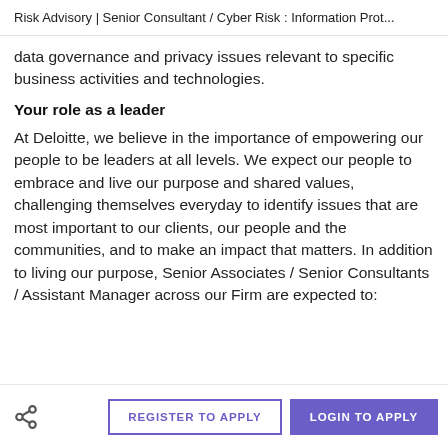Risk Advisory | Senior Consultant / Cyber Risk : Information Prot...
data governance and privacy issues relevant to specific business activities and technologies.
Your role as a leader
At Deloitte, we believe in the importance of empowering our people to be leaders at all levels. We expect our people to embrace and live our purpose and shared values, challenging themselves everyday to identify issues that are most important to our clients, our people and the communities, and to make an impact that matters. In addition to living our purpose, Senior Associates / Senior Consultants / Assistant Manager across our Firm are expected to:
REGISTER TO APPLY   LOGIN TO APPLY